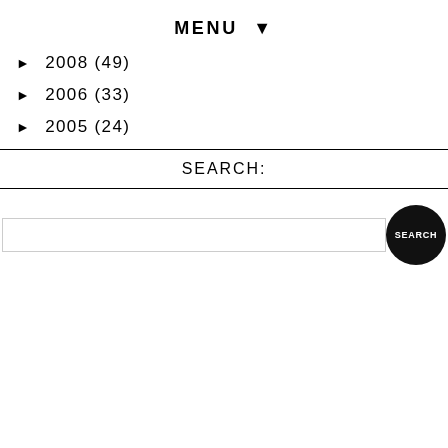MENU ▼
► 2008 (49)
► 2006 (33)
► 2005 (24)
SEARCH:
[search input field] [SEARCH button]